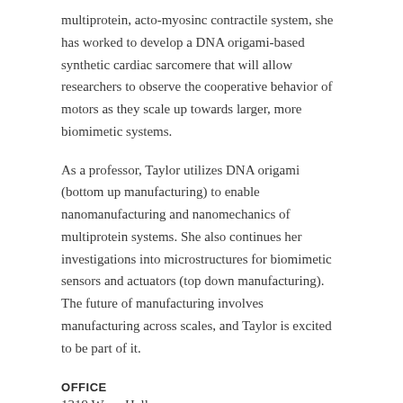multiprotein, acto-myosinc contractile system, she has worked to develop a DNA origami-based synthetic cardiac sarcomere that will allow researchers to observe the cooperative behavior of motors as they scale up towards larger, more biomimetic systems.
As a professor, Taylor utilizes DNA origami (bottom up manufacturing) to enable nanomanufacturing and nanomechanics of multiprotein systems. She also continues her investigations into microstructures for biomimetic sensors and actuators (top down manufacturing). The future of manufacturing involves manufacturing across scales, and Taylor is excited to be part of it.
OFFICE
1319 Wean Hall
EMAIL
bex@andrew.cmu.edu